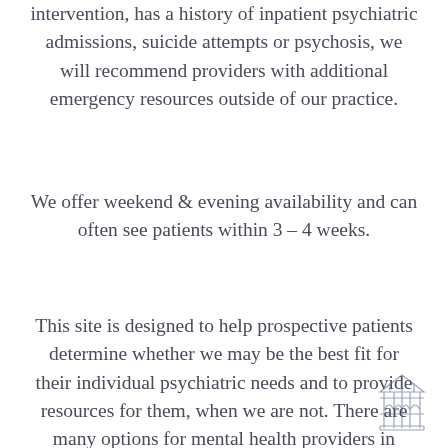family intends to dealing with intervention, has a history of inpatient psychiatric admissions, suicide attempts or psychosis, we will recommend providers with additional emergency resources outside of our practice.
We offer weekend & evening availability and can often see patients within 3 – 4 weeks.
This site is designed to help prospective patients determine whether we may be the best fit for their individual psychiatric needs and to provide resources for them, when we are not. There are many options for mental health providers in Philadelphia, the Suburban Philadelphia area, the main line